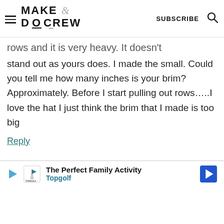MAKE & DO CREW  SUBSCRIBE
rows and it is very heavy. It doesn't stand out as yours does. I made the small. Could you tell me how many inches is your brim? Approximately. Before I start pulling out rows…..I love the hat I just think the brim that I made is too big
Reply
[Figure (infographic): Advertisement banner: Play icon, Topgolf logo, text 'The Perfect Family Activity / Topgolf', blue arrow navigation icon]